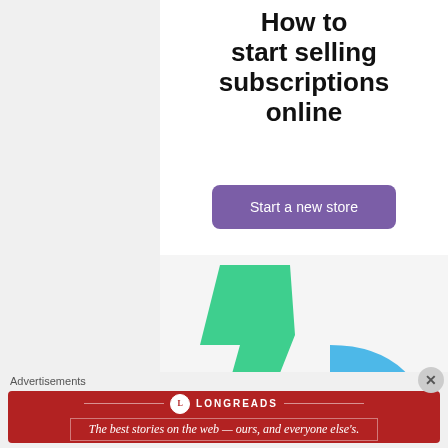How to start selling subscriptions online
[Figure (illustration): Purple button labeled 'Start a new store' and two decorative shapes: a green angular shape and a blue curved quarter-circle shape on a light gray background]
Advertisements
[Figure (logo): Longreads banner ad in dark red. Logo circle with 'L', text 'LONGREADS'. Tagline: The best stories on the web — ours, and everyone else's.]